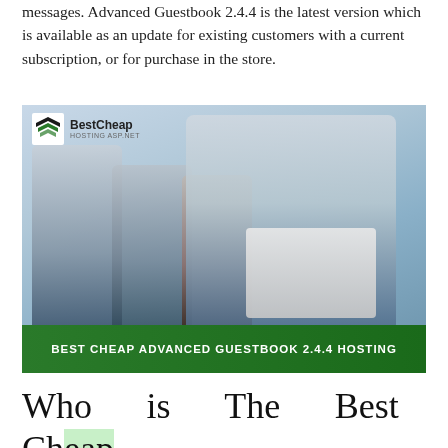messages. Advanced Guestbook 2.4.4 is the latest version which is available as an update for existing customers with a current subscription, or for purchase in the store.
[Figure (photo): Business professionals in an office setting. A smiling older man in a blue shirt and tie holds a laptop in the foreground. Three people are in the blurred background. A green banner at the bottom reads: BEST CHEAP ADVANCED GUESTBOOK 2.4.4 HOSTING. A BestCheap logo appears in the top-left corner.]
Who is The Best Cheap Advanced Guestbook 2.4.4